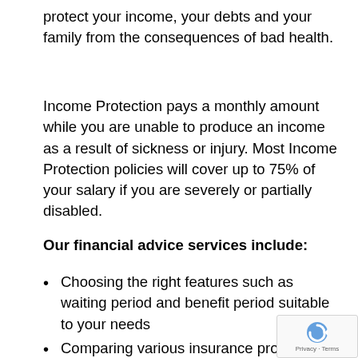protect your income, your debts and your family from the consequences of bad health.
Income Protection pays a monthly amount while you are unable to produce an income as a result of sickness or injury. Most Income Protection policies will cover up to 75% of your salary if you are severely or partially disabled.
Our financial advice services include:
Choosing the right features such as waiting period and benefit period suitable to your needs
Comparing various insurance product providers available to you in terms of price and features
Setting up and implementing the insurance p
Negotiating with the insurer on your behalf, if any